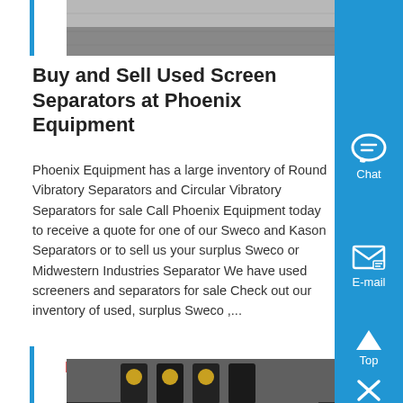[Figure (photo): Grayscale photo of textured surface at the top of page]
Buy and Sell Used Screen Separators at Phoenix Equipment
Phoenix Equipment has a large inventory of Round Vibratory Separators and Circular Vibratory Separators for sale Call Phoenix Equipment today to receive a quote for one of our Sweco and Kason Separators or to sell us your surplus Sweco or Midwestern Industries Separator We have used screeners and separators for sale Check out our inventory of used, surplus Sweco ,...
Know More
[Figure (photo): Photo of industrial equipment - screen separator machinery]